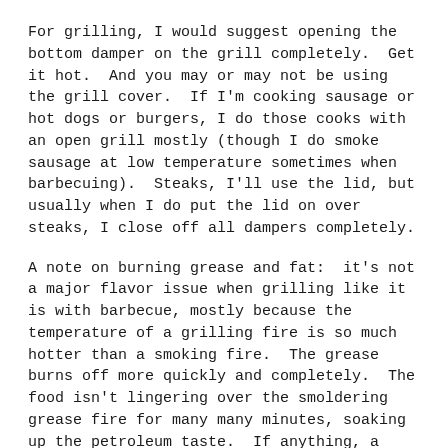For grilling, I would suggest opening the bottom damper on the grill completely.  Get it hot.  And you may or may not be using the grill cover.  If I'm cooking sausage or hot dogs or burgers, I do those cooks with an open grill mostly (though I do smoke sausage at low temperature sometimes when barbecuing).  Steaks, I'll use the lid, but usually when I do put the lid on over steaks, I close off all dampers completely.
A note on burning grease and fat:  it's not a major flavor issue when grilling like it is with barbecue, mostly because the temperature of a grilling fire is so much hotter than a smoking fire.  The grease burns off more quickly and completely.  The food isn't lingering over the smoldering grease fire for many many minutes, soaking up the petroleum taste.  If anything, a little beef grease just adds some grilly grillness on the flavor front--but only at grilling temps!  You want to avoid burning grease completely on a low and slow cook.
Anyway, if your grill is hot, good job.  You're ready to grill now.